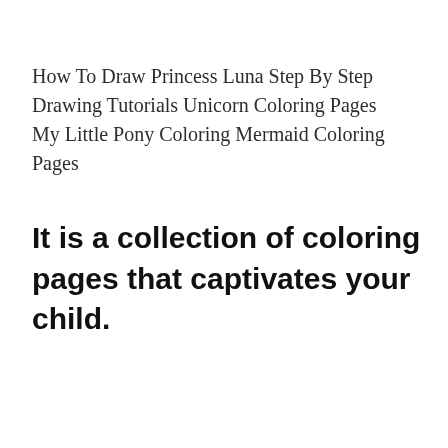How To Draw Princess Luna Step By Step Drawing Tutorials Unicorn Coloring Pages My Little Pony Coloring Mermaid Coloring Pages
It is a collection of coloring pages that captivates your child.